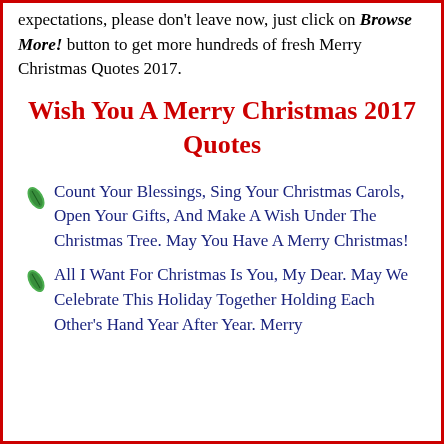expectations, please don't leave now, just click on Browse More! button to get more hundreds of fresh Merry Christmas Quotes 2017.
Wish You A Merry Christmas 2017 Quotes
Count Your Blessings, Sing Your Christmas Carols, Open Your Gifts, And Make A Wish Under The Christmas Tree. May You Have A Merry Christmas!
All I Want For Christmas Is You, My Dear. May We Celebrate This Holiday Together Holding Each Other's Hand Year After Year. Merry